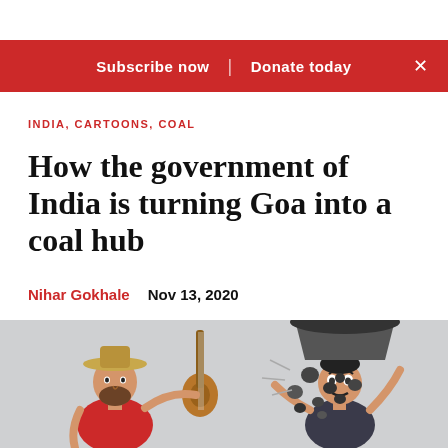Subscribe now | Donate today
INDIA, CARTOONS, COAL
How the government of India is turning Goa into a coal hub
Nihar Gokhale   Nov 13, 2020
[Figure (illustration): Editorial cartoon showing two characters: on the left, a bearded man in a straw hat and red t-shirt holding a guitar; on the right, a man in a suit being struck by coal falling from a large bucket overhead.]